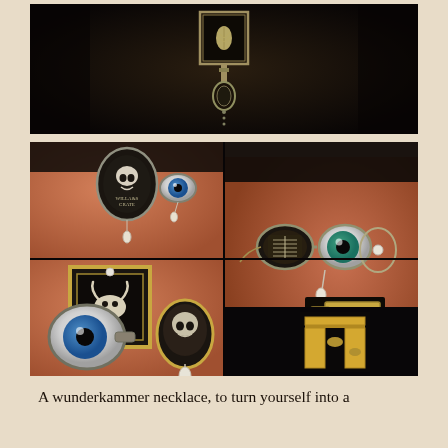[Figure (photo): Top photo: dark background with ornate necklace charm featuring a small framed pendant with leaf/feather motif on a chain, photographed against dark surface]
[Figure (photo): Large collage of four close-up photos of a wunderkammer necklace being worn, showing various pendants including skull cameos, glass eye charms, animal skull in miniature gilded frame, key-shaped pendant, and teardrop pearl drops, worn on skin with theatrical makeup]
A wunderkammer necklace, to turn yourself into a